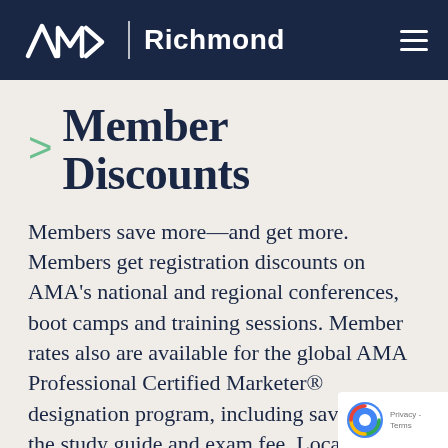AMA Richmond
Member Discounts
Members save more—and get more. Members get registration discounts on AMA's national and regional conferences, boot camps and training sessions. Member rates also are available for the global AMA Professional Certified Marketer® designation program, including savings on the study guide and exam fee. Locally, AMA Richmond offers member rates for programs as well as a collection of members-only educational and social events that are 100% free. Plus your membership status qualifies you for